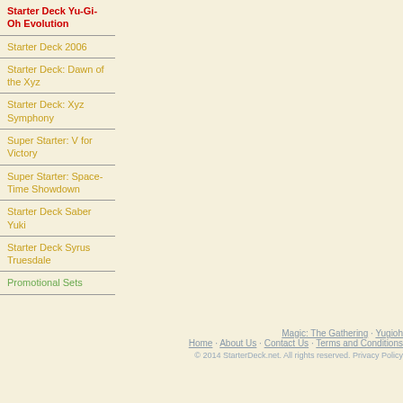Starter Deck Yu-Gi-Oh Evolution
Starter Deck 2006
Starter Deck: Dawn of the Xyz
Starter Deck: Xyz Symphony
Super Starter: V for Victory
Super Starter: Space-Time Showdown
Starter Deck Saber Yuki
Starter Deck Syrus Truesdale
Promotional Sets
Magic: The Gathering · Yugioh · Home · About Us · Contact Us · Terms and Conditions · © 2014 StarterDeck.net. All rights reserved. Privacy Policy